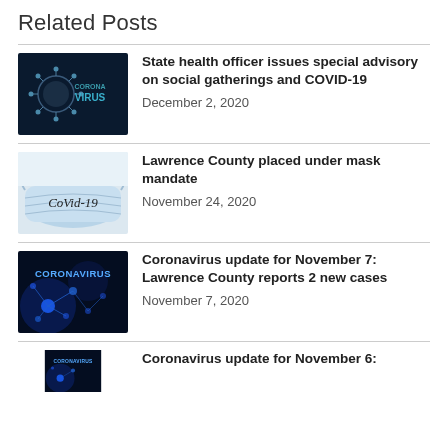Related Posts
[Figure (photo): Dark background with coronavirus particle image and text 'CORONA VIRUS']
State health officer issues special advisory on social gatherings and COVID-19
December 2, 2020
[Figure (photo): Light blue medical mask with 'CoVid-19' written on it]
Lawrence County placed under mask mandate
November 24, 2020
[Figure (photo): Dark blue background with molecule structures and text 'CORONAVIRUS']
Coronavirus update for November 7: Lawrence County reports 2 new cases
November 7, 2020
[Figure (photo): Dark blue background with molecule structures (partial, cut off)]
Coronavirus update for November 6: